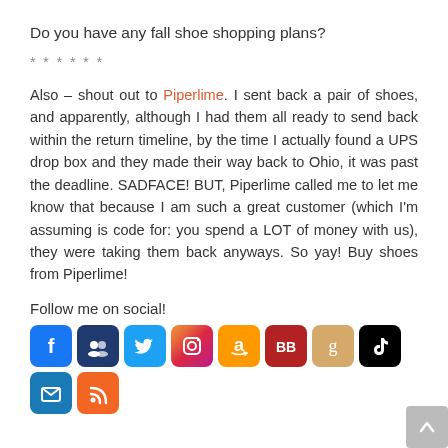Do you have any fall shoe shopping plans?
* * * * * *
Also – shout out to Piperlime. I sent back a pair of shoes, and apparently, although I had them all ready to send back within the return timeline, by the time I actually found a UPS drop box and they made their way back to Ohio, it was past the deadline. SADFACE! BUT, Piperlime called me to let me know that because I am such a great customer (which I'm assuming is code for: you spend a LOT of money with us), they were taking them back anyways. So yay! Buy shoes from Piperlime!
Follow me on social!
[Figure (infographic): Row of social media icons: Facebook, Myspace/Friends, Twitter, Instagram, Amazon, BlogBooster, Goodreads, TikTok, Email. Second row: RSS feed icon. Scroll-to-top button at bottom right.]